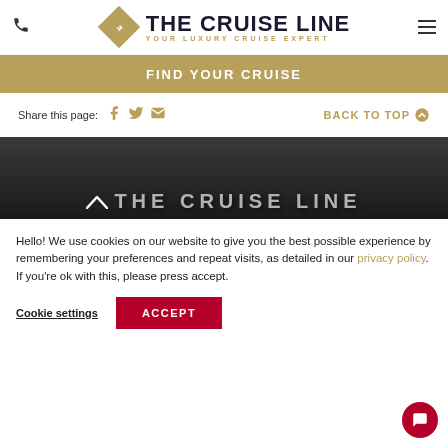[Figure (logo): The Cruise Line logo with diamond emblem and tagline 'YOUR LUXURY CRUISE EXPERT']
FIND YOUR CRUISE
Share this page:  [Facebook] [Twitter] [Email]    BACK TO TOP ↑
[Figure (photo): Dark background banner image with white chevron and blurred text]
Hello! We use cookies on our website to give you the best possible experience by remembering your preferences and repeat visits, as detailed in our privacy policy. If you're ok with this, please press accept.
Cookie settings   ACCEPT